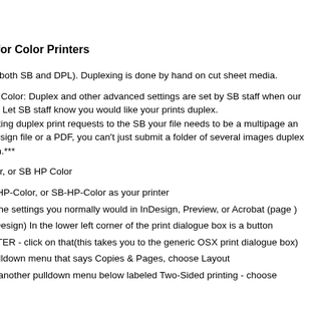gs for Color Printers
ers (both SB and DPL). Duplexing is done by hand on cut sheet media.
ress Color: Duplex and other advanced settings are set by SB staff when our files. Let SB staff know you would like your prints duplex.
bmitting duplex print requests to the SB your file needs to be a multipage an InDesign file or a PDF, you can't just submit a folder of several images duplex them.***
Color, or SB HP Color
ary-HP-Color, or SB-HP-Color as your printer
l of the settings you normally would in InDesign, Preview, or Acrobat (page )
r InDesign) In the lower left corner of the print dialogue box is a button
RINTER - click on that(this takes you to the generic OSX print dialogue box)
e pulldown menu that says Copies & Pages, choose Layout
see another pulldown menu below labeled Two-Sided printing - choose